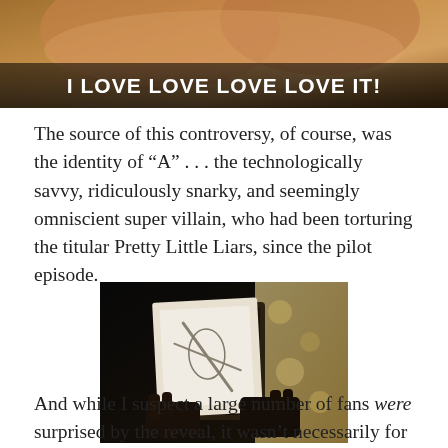[Figure (photo): Top portion of image showing warm-toned background with text overlay 'I LOVE LOVE LOVE LOVE IT!' in white bold letters on a dark bar]
I LOVE LOVE LOVE LOVE IT!
The source of this controversy, of course, was the identity of “A” . . . the technologically savvy, ridiculously snarky, and seemingly omniscient super villain, who had been torturing the titular Pretty Little Liars, since the pilot episode.
[Figure (photo): Dark photograph showing hands holding an open box or book with a framed image inside, showing what appears to be a bird or figure on white paper, with floral fabric visible in background]
And while I suspect a large number of fans were surprised by the reveal, it wasn’t necessarily for the reasons the